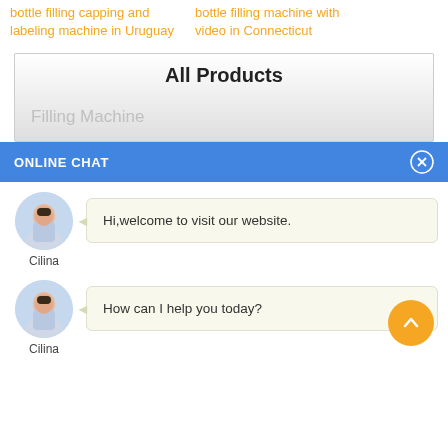bottle filling capping and labeling machine in Uruguay
bottle filling machine with video in Connecticut
All Products
Filling Machine
ONLINE CHAT
Hi,welcome to visit our website.
Cilina
How can I help you today?
Cilina